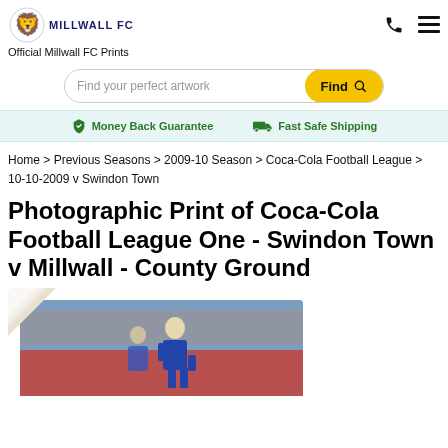MILLWALL FC — Official Millwall FC Prints
Find your perfect artwork
Money Back Guarantee   Fast Safe Shipping
Home > Previous Seasons > 2009-10 Season > Coca-Cola Football League > 10-10-2009 v Swindon Town
Photographic Print of Coca-Cola Football League One - Swindon Town v Millwall - County Ground
[Figure (photo): Football match photo showing a player in blue kit at County Ground, Swindon Town vs Millwall, 10-10-2009]